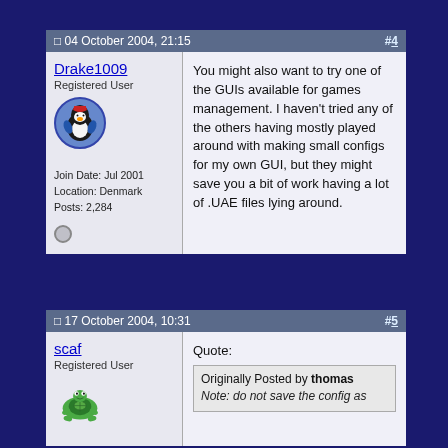04 October 2004, 21:15  #4
Drake1009
Registered User
Join Date: Jul 2001
Location: Denmark
Posts: 2,284
You might also want to try one of the GUIs available for games management. I haven't tried any of the others having mostly played around with making small configs for my own GUI, but they might save you a bit of work having a lot of .UAE files lying around.
17 October 2004, 10:31  #5
scaf
Registered User
Quote:
Originally Posted by thomas
Note: do not save the config as